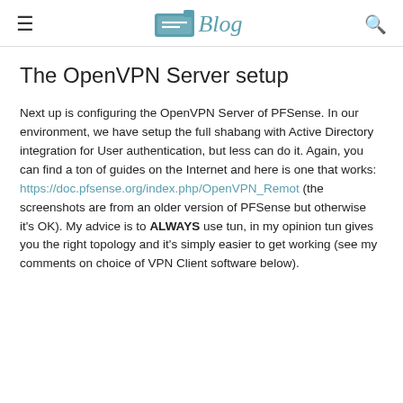≡  Blog  🔍
The OpenVPN Server setup
Next up is configuring the OpenVPN Server of PFSense. In our environment, we have setup the full shabang with Active Directory integration for User authentication, but less can do it. Again, you can find a ton of guides on the Internet and here is one that works: https://doc.pfsense.org/index.php/OpenVPN_Remot (the screenshots are from an older version of PFSense but otherwise it's OK). My advice is to ALWAYS use tun, in my opinion tun gives you the right topology and it's simply easier to get working (see my comments on choice of VPN Client software below).